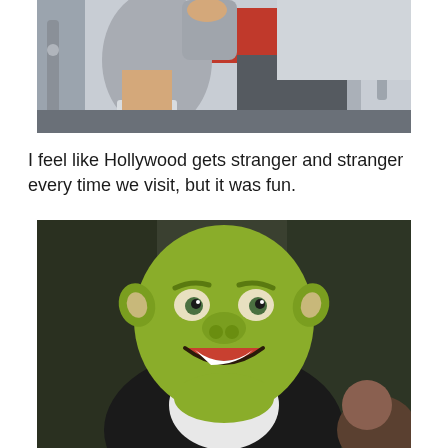[Figure (photo): Close-up photo of a person's legs/lower body near outdoor exercise equipment with red seat and metal frame, wearing gray clothing and white socks]
I feel like Hollywood gets stranger and stranger every time we visit, but it was fun.
[Figure (photo): Photo of Shrek animated character smiling at camera, appearing as a theme park character or movie still, with dark background]